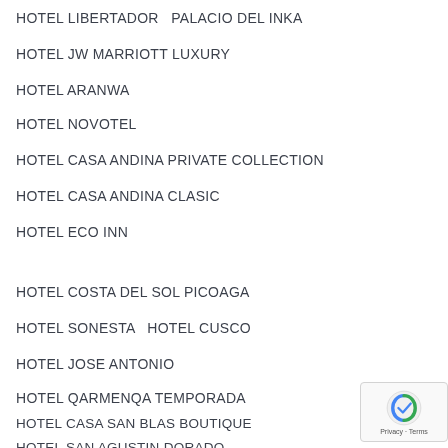HOTEL LIBERTADOR   PALACIO DEL INKA
HOTEL JW MARRIOTT LUXURY
HOTEL ARANWA
HOTEL NOVOTEL
HOTEL CASA ANDINA PRIVATE COLLECTION
HOTEL CASA ANDINA CLASIC
HOTEL ECO INN
HOTEL COSTA DEL SOL PICOAGA
HOTEL SONESTA  HOTEL CUSCO
HOTEL JOSE ANTONIO
HOTEL QARMENQA TEMPORADA
HOTEL CASA SAN BLAS BOUTIQUE
HOTEL SAN AGUSTIN DORADO